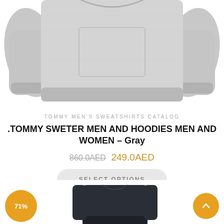[Figure (photo): Gray men's crewneck sweatshirt shown from front, flat lay product photo on white background]
TOMMY MEN'S SWEATSHIRTS CATALOG
.TOMMY SWETER MEN AND HOODIES MEN AND WOMEN – Gray
860.0AED 249.0AED
SELECT OPTIONS
[Figure (photo): Dark navy/black men's crewneck sweatshirt, partially visible at bottom of page]
71%
[Figure (other): Scroll-to-top button, circular orange with upward arrow]